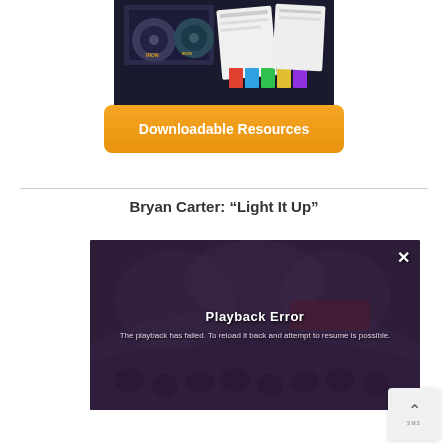[Figure (photo): Product image showing books and DVDs related to Iron curriculum resources]
Downloadable Resources
Bryan Carter: “Light It Up”
[Figure (screenshot): Video player error overlay on dark background showing audience/church scene with text: Playback Error - The playback has failed. To reload it back and attempt to resume is possible.]